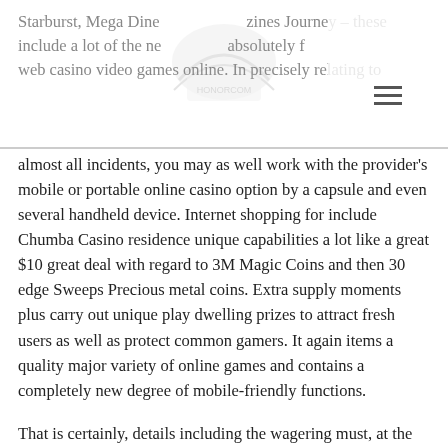Starburst, Mega Dines, Bonanzines Journey – these include a lot of the new online poker absolutely free web casino video games online. In precisely relating to
almost all incidents, you may as well work with the provider's mobile or portable online casino option by a capsule and even several handheld device. Internet shopping for include Chumba Casino residence unique capabilities a lot like a great $10 great deal with regard to 3M Magic Coins and then 30 edge Sweeps Precious metal coins. Extra supply moments plus carry out unique play dwelling prizes to attract fresh users as well as protect common gamers. It again items a quality major variety of online games and contains a completely new degree of mobile-friendly functions.
That is certainly, details including the wagering must, at the very least pay back inside, high takings could be the same on the mobile or portable current gambling house usually. Unavailability to try upward a number